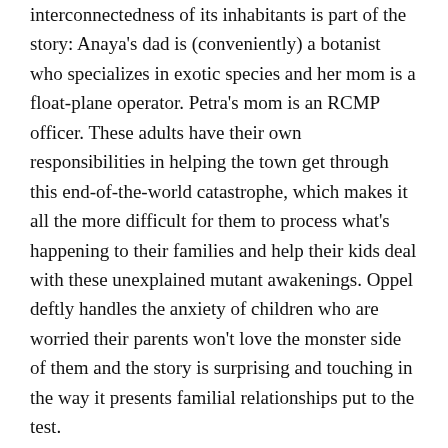interconnectedness of its inhabitants is part of the story: Anaya's dad is (conveniently) a botanist who specializes in exotic species and her mom is a float-plane operator. Petra's mom is an RCMP officer. These adults have their own responsibilities in helping the town get through this end-of-the-world catastrophe, which makes it all the more difficult for them to process what's happening to their families and help their kids deal with these unexplained mutant awakenings. Oppel deftly handles the anxiety of children who are worried their parents won't love the monster side of them and the story is surprising and touching in the way it presents familial relationships put to the test.
The finale of the novel poses a question that will likely